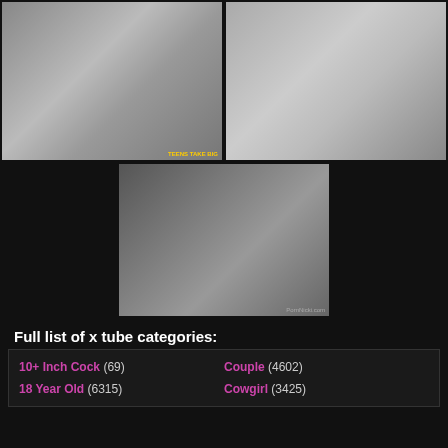[Figure (photo): Thumbnail image left - explicit adult content]
[Figure (photo): Thumbnail image right - explicit adult content]
[Figure (photo): Thumbnail image center - explicit adult content]
Full list of x tube categories:
10+ Inch Cock (69)
Couple (4602)
18 Year Old (6315)
Cowgirl (3425)